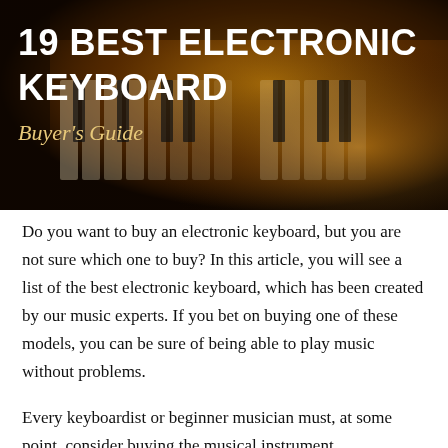[Figure (photo): Dark background photo of electronic keyboard/piano keys with warm amber/orange lighting overlay. White bold text reads '19 BEST ELECTRONIC KEYBOARD' and below in italic gold/yellow text reads 'Buyer's Guide'.]
Do you want to buy an electronic keyboard, but you are not sure which one to buy? In this article, you will see a list of the best electronic keyboard, which has been created by our music experts. If you bet on buying one of these models, you can be sure of being able to play music without problems.
Every keyboardist or beginner musician must, at some point, consider buying the musical instrument